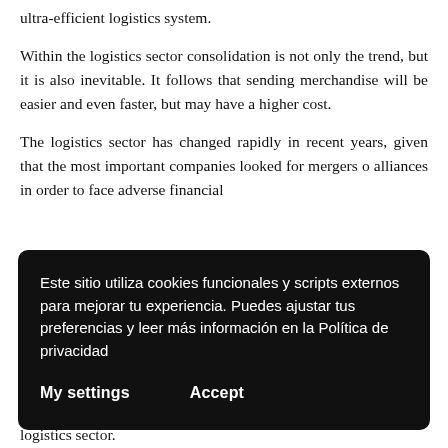ultra-efficient logistics system.
Within the logistics sector consolidation is not only the trend, but it is also inevitable. It follows that sending merchandise will be easier and even faster, but may have a higher cost.
The logistics sector has changed rapidly in recent years, given that the most important companies looked for mergers o alliances in order to face adverse financial
Este sitio utiliza cookies funcionales y scripts externos para mejorar tu experiencia. Puedes ajustar tus preferencias y leer más información en la Política de privacidad
My settings
Accept
logistics sector.